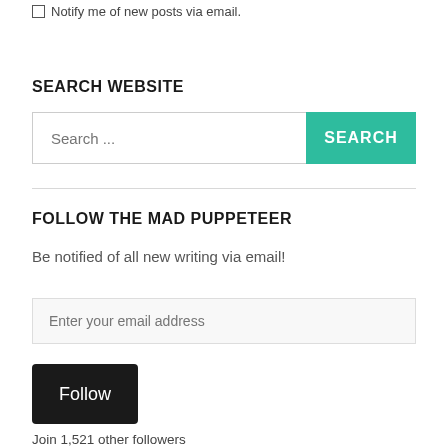Notify me of new posts via email.
SEARCH WEBSITE
Search ...
FOLLOW THE MAD PUPPETEER
Be notified of all new writing via email!
Enter your email address
Follow
Join 1,521 other followers